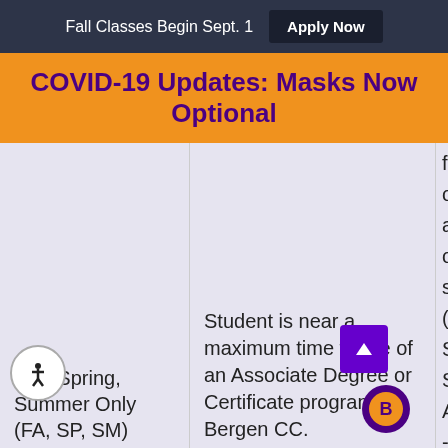Fall Classes Begin Sept. 1   Apply Now
COVID-19 Updates: Masks Now Optional
Fall, Spring, Summer Only (FA, SP, SM)
Student is near a maximum time frame of an Associate Degree or Certificate program at Bergen CC.
for o and one sem (Fall Spri Sum AND - Will ng digi rece